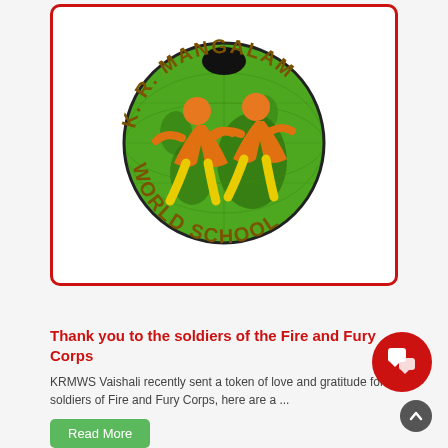[Figure (logo): K.R. Mangalam World School logo — green globe with two orange child figures, text arched around: 'K. R. MANGALAM' on top and 'WORLD SCHOOL' on bottom, in dark golden/brown color]
Thank you to the soldiers of the Fire and Fury Corps
KRMWS Vaishali recently sent a token of love and gratitude for soldiers of Fire and Fury Corps, here are a ...